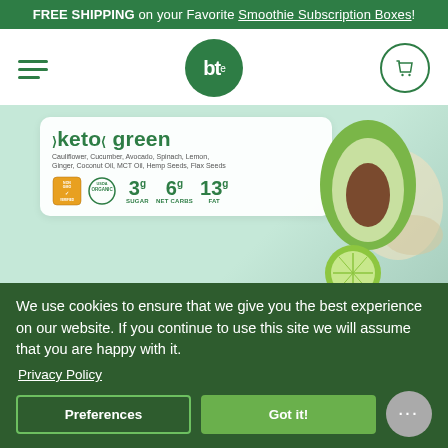FREE SHIPPING on your Favorite Smoothie Subscription Boxes!
[Figure (logo): bt logo in green circle and hamburger menu and cart icon navigation bar]
[Figure (photo): Keto green smoothie product packaging with avocado, cucumber, and seeds. Label shows: keto green, Cauliflower, Cucumber, Avocado, Spinach, Lemon, Ginger, Coconut Oil, MCT Oil, Hemp Seeds, Flax Seeds. Non-GMO and USDA Organic badges. Nutrition: 3g Sugar, 6g Net Carbs, 13g Fat.]
KETO CERTIFIED SMOOTHIE
Made with organic whole foods, superfoods, coconut oil + mct oil
We use cookies to ensure that we give you the best experience on our website. If you continue to use this site we will assume that you are happy with it.
Privacy Policy